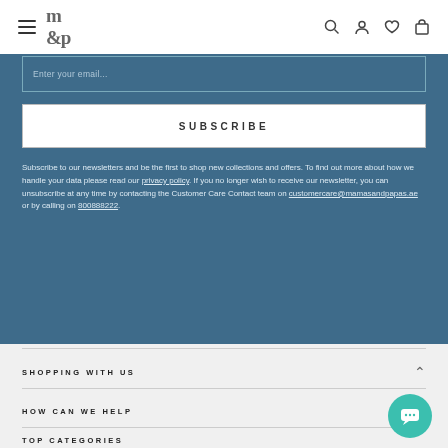m&p (logo) with navigation icons: search, account, wishlist, cart
Enter your email...
SUBSCRIBE
Subscribe to our newsletters and be the first to shop new collections and offers. To find out more about how we handle your data please read our privacy policy. If you no longer wish to receive our newsletter, you can unsubscribe at any time by contacting the Customer Care Contact team on customercare@mamasandpapas.ae or by calling on 800888222.
SHOPPING WITH US
HOW CAN WE HELP
TOP CATEGORIES